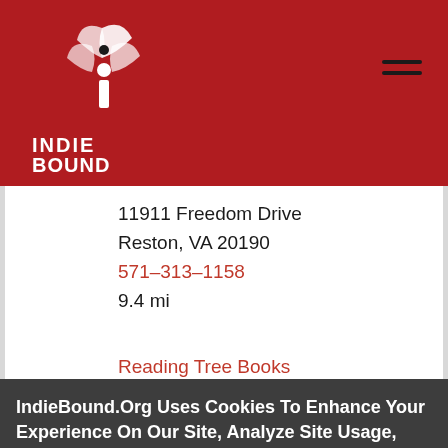[Figure (logo): IndieBound logo — white stylized figure with books on red background, text INDIE BOUND below]
11911 Freedom Drive
Reston, VA 20190
571-313-1158
9.4 mi
Reading Tree Books
IndieBound.Org Uses Cookies To Enhance Your Experience On Our Site, Analyze Site Usage, And Assist In Our Marketing Efforts. By Clicking Accept, You Agree To The Storing Of Cookies On Your Device. View Our Cookie Policy.
Give me more info
Accept all Cookies